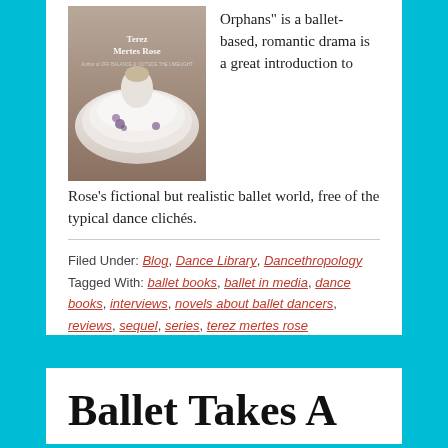[Figure (illustration): Book cover of a ballet-themed novel by Terez Mertes Rose showing a ballerina in white tutu with lavender flowers]
Orphans" is a ballet-based, romantic drama is a great introduction to Rose's fictional but realistic ballet world, free of the typical dance clichés.
Filed Under: Blog, Dance Library, Dancethropology
Tagged With: ballet books, ballet in media, dance books, interviews, novels about ballet dancers, reviews, sequel, series, terez mertes rose
Ballet Takes A